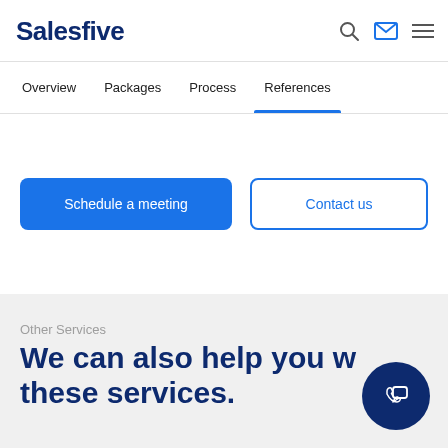Salesfive
Overview  Packages  Process  References
Schedule a meeting
Contact us
Other Services
We can also help you with these services.